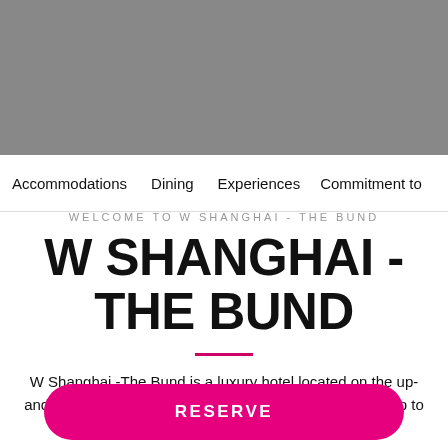[Figure (photo): Gray banner image at the top of the hotel page]
Accommodations   Dining   Experiences   Commitment to
WELCOME TO W SHANGHAI - THE BUND
W SHANGHAI - THE BUND
W Shanghai -The Bund is a luxury hotel located on the up-and-coming North Bund in glamorous Shanghai. Wake up to views of the Huangpu River from 374...
RESERVE